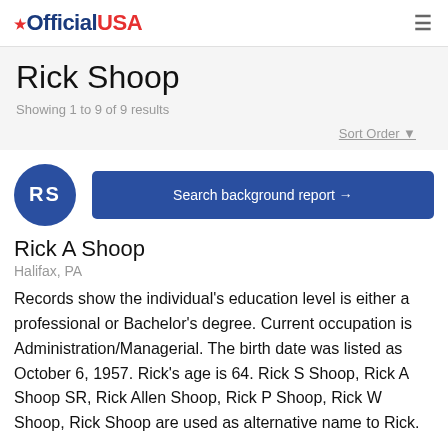OfficialUSA
Rick Shoop
Showing 1 to 9 of 9 results
Sort Order
[Figure (other): Avatar circle with initials RS in dark blue]
Search background report →
Rick A Shoop
Halifax, PA
Records show the individual's education level is either a professional or Bachelor's degree. Current occupation is Administration/Managerial. The birth date was listed as October 6, 1957. Rick's age is 64. Rick S Shoop, Rick A Shoop SR, Rick Allen Shoop, Rick P Shoop, Rick W Shoop, Rick Shoop are used as alternative name to Rick.